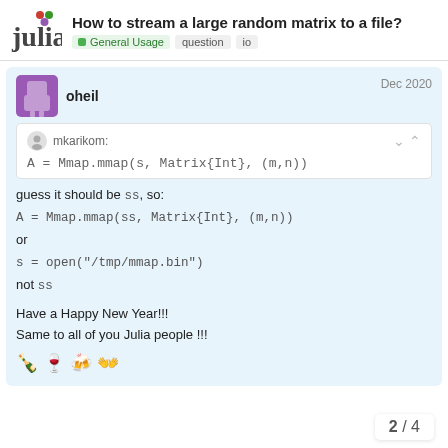How to stream a large random matrix to a file? | General Usage | question | io
oheil — Dec 2020
mkarikom: A = Mmap.mmap(s, Matrix{Int}, (m,n))
guess it should be ss, so:
A = Mmap.mmap(ss, Matrix{Int}, (m,n))
or
s = open("/tmp/mmap.bin")
not ss

Have a Happy New Year!!!
Same to all of you Julia people !!!
🍾 🍷 🍻 👐
2 / 4